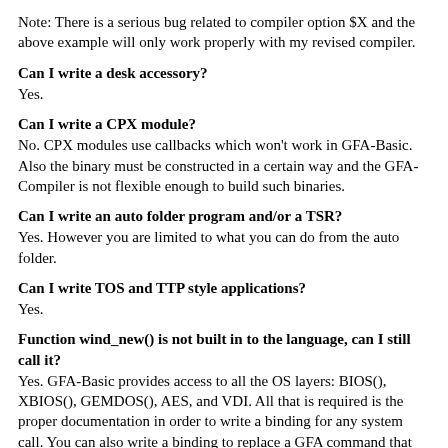Note: There is a serious bug related to compiler option $X and the above example will only work properly with my revised compiler.
Can I write a desk accessory?
Yes.
Can I write a CPX module?
No. CPX modules use callbacks which won't work in GFA-Basic. Also the binary must be constructed in a certain way and the GFA-Compiler is not flexible enough to build such binaries.
Can I write an auto folder program and/or a TSR?
Yes. However you are limited to what you can do from the auto folder.
Can I write TOS and TTP style applications?
Yes.
Function wind_new() is not built in to the language, can I still call it?
Yes. GFA-Basic provides access to all the OS layers: BIOS(), XBIOS(), GEMDOS(), AES, and VDI. All that is required is the proper documentation in order to write a binding for any system call. You can also write a binding to replace a GFA command that ends up making a system call.